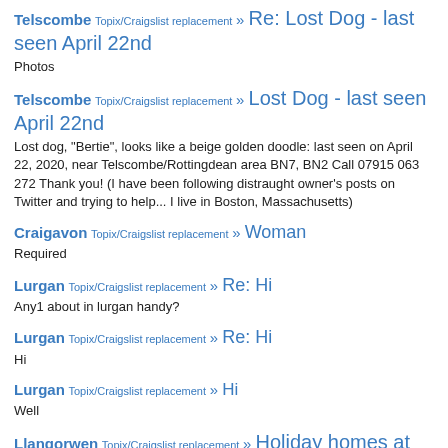Telscombe Topix/Craigslist replacement » Re: Lost Dog - last seen April 22nd
Photos
Telscombe Topix/Craigslist replacement » Lost Dog - last seen April 22nd
Lost dog, "Bertie", looks like a beige golden doodle: last seen on April 22, 2020, near Telscombe/Rottingdean area BN7, BN2 Call 07915 063 272 Thank you! (I have been following distraught owner's posts on Twitter and trying to help... I live in Boston, Massachusetts)
Craigavon Topix/Craigslist replacement » Woman
Required
Lurgan Topix/Craigslist replacement » Re: Hi
Any1 about in lurgan handy?
Lurgan Topix/Craigslist replacement » Re: Hi
Hi
Lurgan Topix/Craigslist replacement » Hi
Well
Llangorwen Topix/Craigslist replacement » Holiday homes at